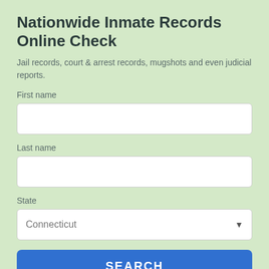Nationwide Inmate Records Online Check
Jail records, court & arrest records, mugshots and even judicial reports.
First name
Last name
State
Connecticut
SEARCH